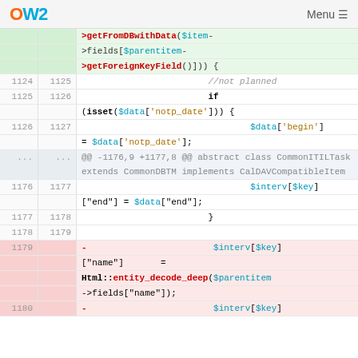OW2  Menu
[Figure (screenshot): Code diff view showing PHP code changes in a diff viewer. Lines 1124-1180 are shown with line numbers on left and right, green highlight for added lines, red/pink for removed lines. Code includes PHP syntax with variables like $item, $parentitem, $data, $interv, $key and functions like getFromDBwithData, getForeignKeyField, isset, Html::entity_decode_deep.]